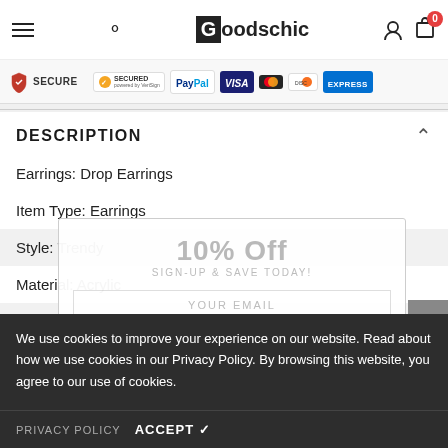Goodschic - navigation header with hamburger menu, search, logo, user icon, and cart (0)
[Figure (infographic): Payment security badges row: SECURE shield, VeriSign SECURED, PayPal, Visa, Mastercard, Discover, American Express]
DESCRIPTION
Earrings: Drop Earrings
Item Type: Earrings
Style: Trendy
Material: Acrylic
Shape \ pattern: Skeleton
Metals: None
[Figure (screenshot): 10% Off sign-up popup overlay with 'SIGN-UP & SAVE TODAY!' subtitle, YOUR EMAIL input, and SAVE NOW button]
We use cookies to improve your experience on our website. Read about how we use cookies in our Privacy Policy. By browsing this website, you agree to our use of cookies.
PRIVACY POLICY   ACCEPT ✔